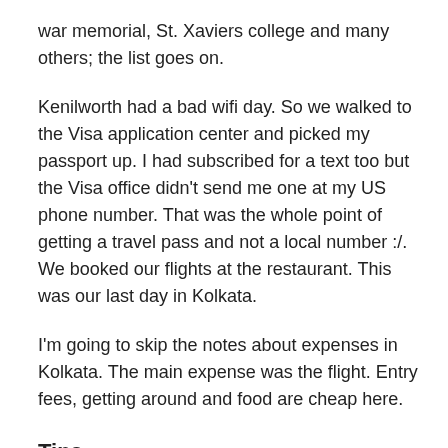war memorial, St. Xaviers college and many others; the list goes on.
Kenilworth had a bad wifi day. So we walked to the Visa application center and picked my passport up. I had subscribed for a text too but the Visa office didn't send me one at my US phone number. That was the whole point of getting a travel pass and not a local number :/. We booked our flights at the restaurant. This was our last day in Kolkata.
I'm going to skip the notes about expenses in Kolkata. The main expense was the flight. Entry fees, getting around and food are cheap here.
Tips: